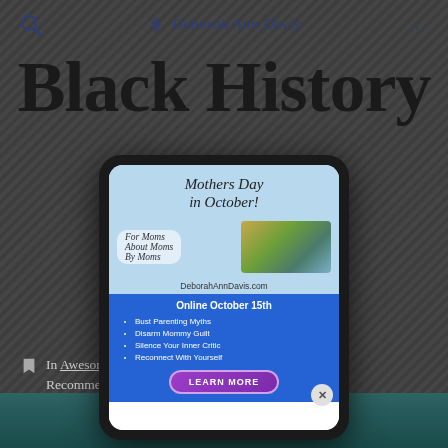Deborah Ann Davis
Black History
By Deborah Ann Davis
In Awesome Teens, Deborah Ann Davis shares Tips and Recommendations for Your Teens + Tweens
[Figure (screenshot): Popup advertisement for 'Mothers Day in October!' online event on October 15th on DeborahAnnDavis.com, featuring bullet points: Bust Parenting Myths, Disarm Mommy Guilt, Silence Your Inner Critic, Reconnect With Yourself, with a LEARN MORE button]